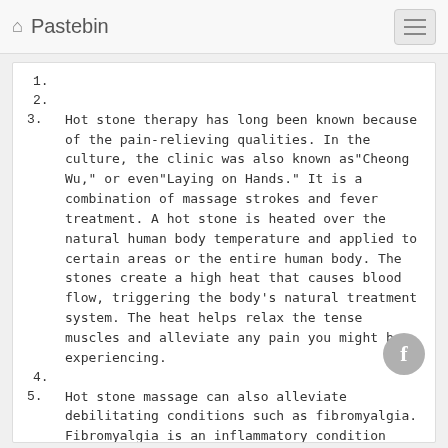🏠 Pastebin
1.
2.
3. Hot stone therapy has long been known because of the pain-relieving qualities. In the culture, the clinic was also known as"Cheong Wu," or even"Laying on Hands." It is a combination of massage strokes and fever treatment. A hot stone is heated over the natural human body temperature and applied to certain areas or the entire human body. The stones create a high heat that causes blood flow, triggering the body's natural treatment system. The heat helps relax the tense muscles and alleviate any pain you might be experiencing.
4.
5. Hot stone massage can also alleviate debilitating conditions such as fibromyalgia. Fibromyalgia is an inflammatory condition that causes chronic, widespread painkillers.